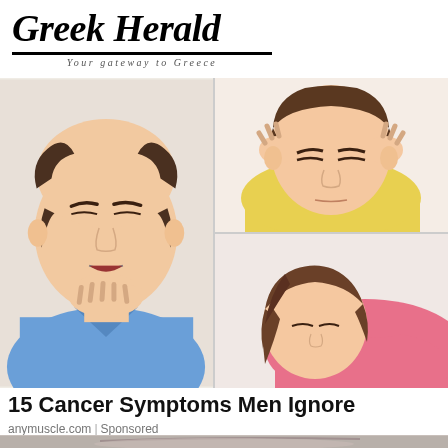Greek Herald
Your gateway to Greece
[Figure (illustration): Three-panel illustration: left panel shows a bald man in blue shirt touching his throat with eyes closed and mouth open; top-right panel shows a woman in yellow top holding her head with both hands, eyes closed, appearing distressed; bottom-right panel shows a woman in pink top with brown hair hunched over with head down.]
15 Cancer Symptoms Men Ignore
anymuscle.com | Sponsored
[Figure (photo): Partial photo of a woman's face from eyebrows up, showing hair styled up, appears to be a beauty or health advertisement image.]